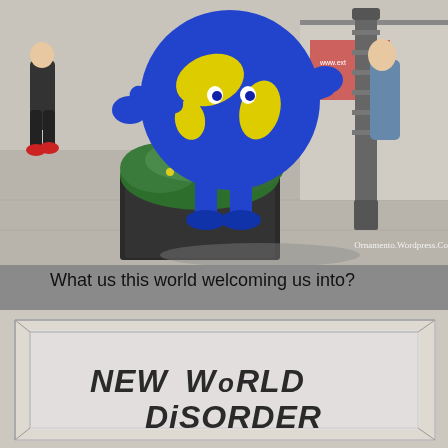[Figure (photo): A colorful cartoon globe mascot character (blue with yellow continents, wearing blue shoes) standing on a city street pavement near a planter with green plants and a black lamp post. People walking in background. Watermark reads 'Ornamento.Wordpress.Com'.]
What us this world welcoming us into?
[Figure (photo): A stone or concrete architectural panel with graffiti text reading 'NEW WORLD DISORDER' written in dark paint/marker in rough capital letters.]